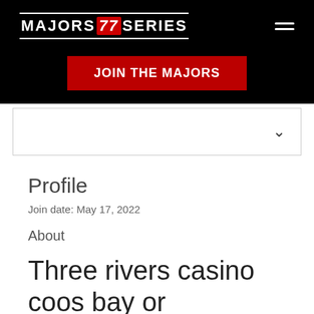[Figure (logo): Majors 77 Series logo in white text with red slash icon on black background, with hamburger menu icon]
[Figure (other): Red JOIN THE MAJORS button on black background]
[Figure (other): Dropdown selector with chevron arrow]
Profile
Join date: May 17, 2022
About
Three rivers casino coos bay or